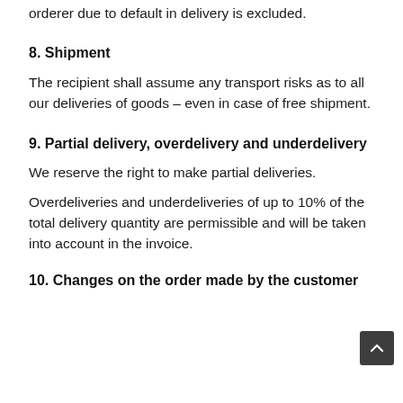orderer due to default in delivery is excluded.
8. Shipment
The recipient shall assume any transport risks as to all our deliveries of goods – even in case of free shipment.
9. Partial delivery, overdelivery and underdelivery
We reserve the right to make partial deliveries.
Overdeliveries and underdeliveries of up to 10% of the total delivery quantity are permissible and will be taken into account in the invoice.
10. Changes on the order made by the customer